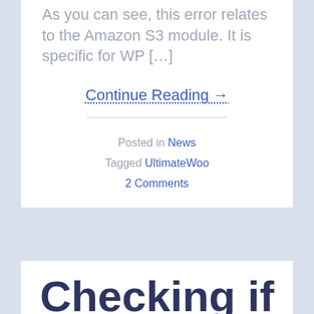As you can see, this error relates to the Amazon S3 module. It is specific for WP […]
Continue Reading →
Posted in News
Tagged UltimateWoo
2 Comments
Checking if User Has Active